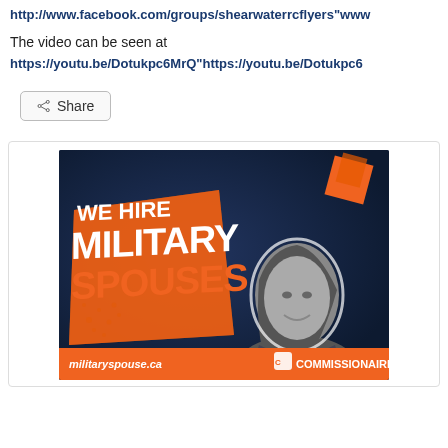http://www.facebook.com/groups/shearwaterrcflyers"www
The video can be seen at
https://youtu.be/Dotukpc6MrQ"https://youtu.be/Dotukpc6
[Figure (advertisement): Commissionaires advertisement with text 'WE HIRE MILITARY SPOUSES' in large bold orange and white letters on a dark blue background, with a black and white photo of a woman smiling, and an orange banner at the bottom reading 'militaryspouse.ca' and 'COMMISSIONAIRES' logo.]